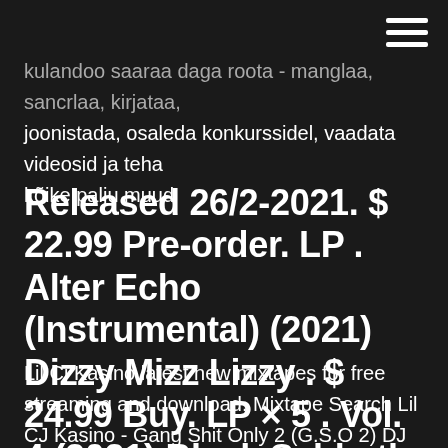kulandoo saaraa daga roota - manglaa, sancrlaa, kirjataa, joonistada, osaleda konkurssidel, vaadata videosid ja teha kõike palju muud
Released 26/2-2021. $ 22.99 Pre-order. LP . Alter Echo (Instrumental) (2021) Dizzy Mizz Lizzy . $ 24.99 Buy. LP × 5 . Vol. 4 (2021) Black Sabbath . $ 110.99 Buy. LP × 2 . ...
Lil Cj Kasino latest new mixtapes for free streaming and download. Mixtape Search Lil CJ Kasino - Gang Shit Only 2 (G.S.O 2) DJ Young Shawn, DJ King Dream. Stream Mixtapes playlist by KID KASINO for download...